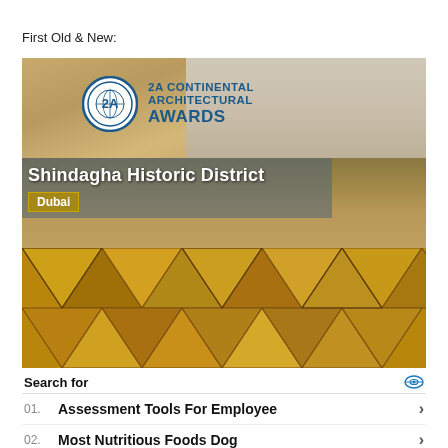First Old & New:
[Figure (photo): Two stacked images: top shows Shindagha Historic District building exterior with 2A Continental Architectural Awards logo overlay and 'Dubai' badge; bottom shows geometric triangular ceiling pattern interior photo.]
Search for
01. Assessment Tools For Employee
02. Most Nutritious Foods Dog
Yahoo! Search | Sponsored